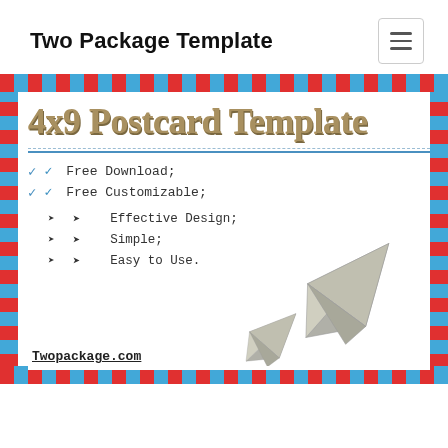Two Package Template
4x9 Postcard Template
Free Download;
Free Customizable;
Effective Design;
Simple;
Easy to Use.
[Figure (illustration): Two grey paper airplanes, one large and one small, overlapping on the right side of the postcard]
Twopackage.com